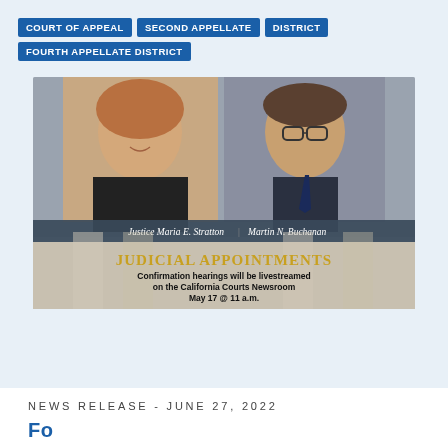COURT OF APPEAL | SECOND APPELLATE DISTRICT | FOURTH APPELLATE DISTRICT
[Figure (photo): Judicial appointments announcement image showing Justice Maria E. Stratton and Martin N. Buchanan with text: JUDICIAL APPOINTMENTS - Confirmation hearings will be livestreamed on the California Courts Newsroom May 17 @ 11 a.m.]
NEWS RELEASE - JUNE 27, 2022
Fo...